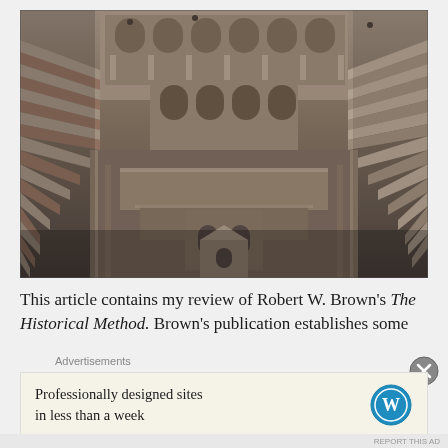[Figure (photo): Aerial/elevated view of Chand Baori stepwell in Rajasthan, India. Shows intricate geometric stone steps descending into the well on multiple sides, with ornate multi-story pavilions and arched galleries in the center background. The stonework is brownish-tan and the image conveys depth through the receding steps.]
This article contains my review of Robert W. Brown's The Historical Method. Brown's publication establishes some
Advertisements
Professionally designed sites in less than a week